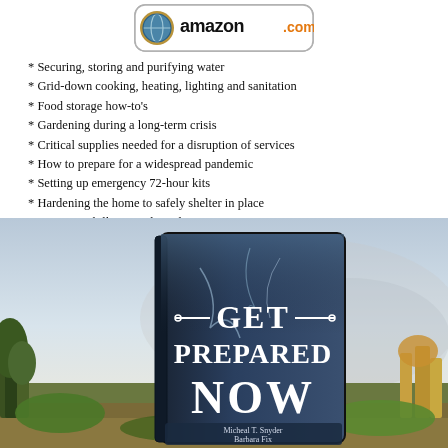[Figure (logo): Amazon.com logo with globe icon and rounded rectangle border]
* Securing, storing and purifying water
* Grid-down cooking, heating, lighting and sanitation
* Food storage how-to's
* Gardening during a long-term crisis
* Critical supplies needed for a disruption of services
* How to prepare for a widespread pandemic
* Setting up emergency 72-hour kits
* Hardening the home to safely shelter in place
* Bartering skill-sets and goods
* Bugging out & relocation
[Figure (photo): Book cover of 'Get Prepared Now' by Micheal T. Snyder and Barbara Fix, shown as a 3D book standing on a natural landscape background with stormy sky]